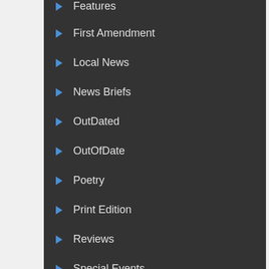Features
First Amendment
Local News
News Briefs
OutDated
OutOfDate
Poetry
Print Edition
Reviews
Special Events